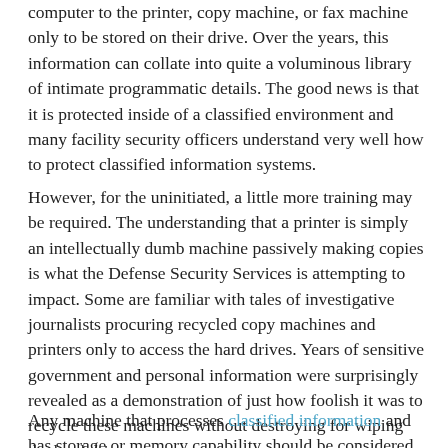computer to the printer, copy machine, or fax machine only to be stored on their drive. Over the years, this information can collate into quite a voluminous library of intimate programmatic details. The good news is that it is protected inside of a classified environment and many facility security officers understand very well how to protect classified information systems.
However, for the uninitiated, a little more training may be required. The understanding that a printer is simply an intellectually dumb machine passively making copies is what the Defense Security Services is attempting to impact. Some are familiar with tales of investigative journalists procuring recycled copy machines and printers only to access the hard drives. Years of sensitive government and personal information were surprisingly revealed as a demonstration of just how foolish it was to recycle these machines without destroying for wiping the hard drives.
Any machine that processes classified information and has storage or memory capability should be considered an